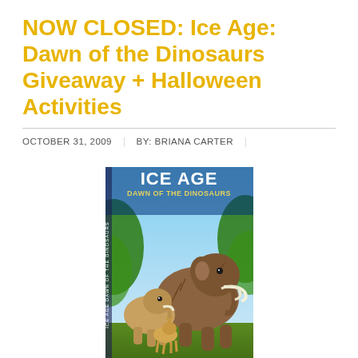NOW CLOSED: Ice Age: Dawn of the Dinosaurs Giveaway + Halloween Activities
OCTOBER 31, 2009 | BY: BRIANA CARTER |
[Figure (photo): DVD cover of Ice Age: Dawn of the Dinosaurs showing animated mammoths and other prehistoric characters against a tropical background with the movie title at the top]
My kids love the Ice Age movies so when we were sent Ice Age: Dawn of the Dinosaurs, they couldn't wait to tear into it! With voices